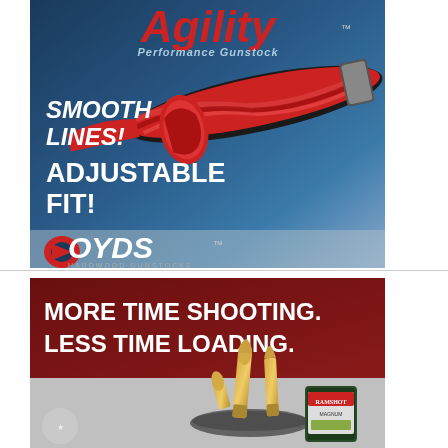[Figure (advertisement): Boyds Agility Performance Gunstock advertisement. Dark blue gradient background. Red and black laminate gunstock displayed diagonally. Text: 'Agility Performance Gunstock', 'SMOOTH LINES!', 'ADJUSTABLE FIT!'. Boyds Hardwood Gunstocks logo at bottom left.]
[Figure (advertisement): Reloading ammunition advertisement with dark red background. Text: 'MORE TIME SHOOTING. LESS TIME LOADING.' Brass bullet cartridges and a container of Ramshot Magnum powder shown in lower portion.]